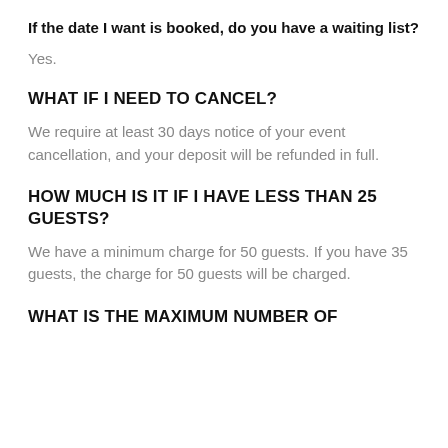If the date I want is booked, do you have a waiting list?
Yes.
WHAT IF I NEED TO CANCEL?
We require at least 30 days notice of your event cancellation, and your deposit will be refunded in full.
HOW MUCH IS IT IF I HAVE LESS THAN 25 GUESTS?
We have a minimum charge for 50 guests. If you have 35 guests, the charge for 50 guests will be charged.
WHAT IS THE MAXIMUM NUMBER OF